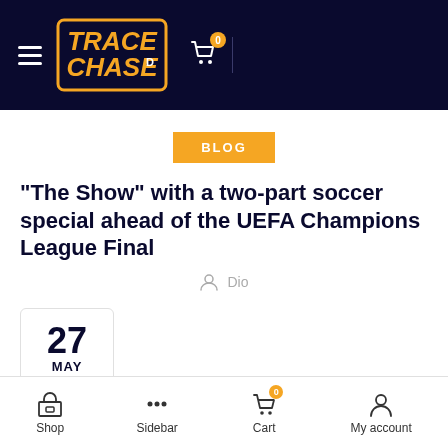Trace Chase — navigation header with logo, hamburger menu, and cart icon
BLOG
“The Show” with a two-part soccer special ahead of the UEFA Champions League Final
Dio
27 MAY
Shop | Sidebar | Cart | My account